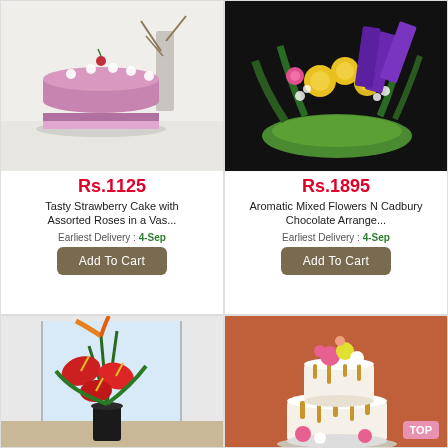[Figure (photo): Strawberry cake with white cream rosettes on a silver stand, with a vase of branches behind it, on white background]
Rs.1125
Tasty Strawberry Cake with Assorted Roses in a Vas...
Earliest Delivery : 4-Sep
Add To Cart
[Figure (photo): Colorful floral arrangement with yellow roses, pink flowers, purple Cadbury chocolates and green ribbons]
Rs.1895
Aromatic Mixed Flowers N Cadbury Chocolate Arrange...
Earliest Delivery : 4-Sep
Add To Cart
[Figure (photo): Tall tropical floral arrangement with red anthurium flowers and bird of paradise plants in a black vase near a window]
[Figure (photo): Two-tier white cake with gold caramel drip, topped with pink and yellow flowers, on an orange background]